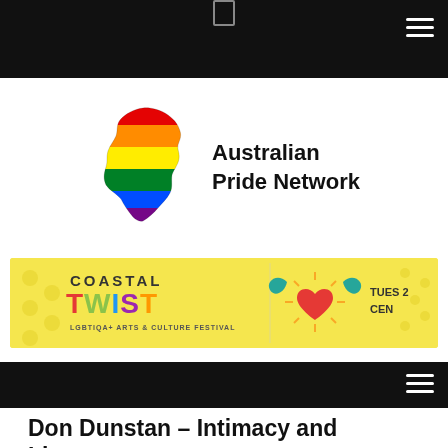[Figure (logo): Australian Pride Network logo: rainbow-colored map of Australia with text 'Australian Pride Network' to the right]
[Figure (illustration): Coastal Twist LGBTIQA+ Arts & Culture Festival banner ad with colorful typography and decorative bird/heart illustration. Text reads: COASTAL TWIST LGBTIQA+ ARTS & CULTURE FESTIVAL TUES 2 CEN]
Don Dunstan – Intimacy and Liberty